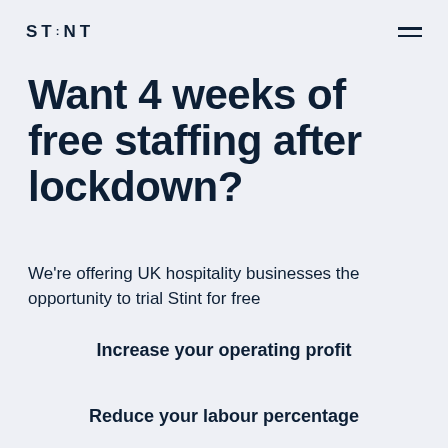ST:NT
Want 4 weeks of free staffing after lockdown?
We're offering UK hospitality businesses the opportunity to trial Stint for free
Increase your operating profit
Reduce your labour percentage